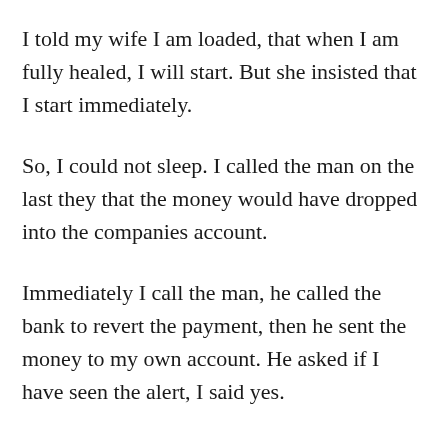I told my wife I am loaded, that when I am fully healed, I will start. But she insisted that I start immediately.
So, I could not sleep. I called the man on the last they that the money would have dropped into the companies account.
Immediately I call the man, he called the bank to revert the payment, then he sent the money to my own account. He asked if I have seen the alert, I said yes.